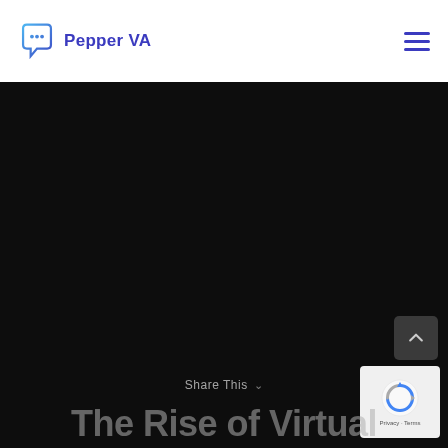Pepper VA
[Figure (screenshot): Dark hero section background of a website page for Pepper VA, with a large title partially visible at the bottom reading 'The Rise of Virtual'. A scroll-to-top button and reCAPTCHA badge are visible in the lower-right corner. A 'Share This' label appears at the bottom center.]
The Rise of Virtual